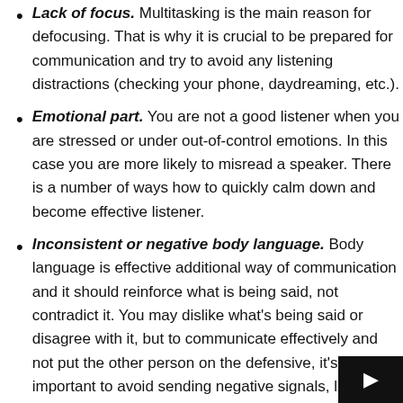Lack of focus. Multitasking is the main reason for defocusing. That is why it is crucial to be prepared for communication and try to avoid any listening distractions (checking your phone, daydreaming, etc.).
Emotional part. You are not a good listener when you are stressed or under out-of-control emotions. In this case you are more likely to misread a speaker. There is a number of ways how to quickly calm down and become effective listener.
Inconsistent or negative body language. Body language is effective additional way of communication and it should reinforce what is being said, not contradict it. You may dislike what's being said or disagree with it, but to communicate effectively and not put the other person on the defensive, it's important to avoid sending negative signals, like avoiding eye contact, crossing your arms, etc.
Lack of eye contact. It is scientifically proved that eye contact significantly increases the level of information perception and